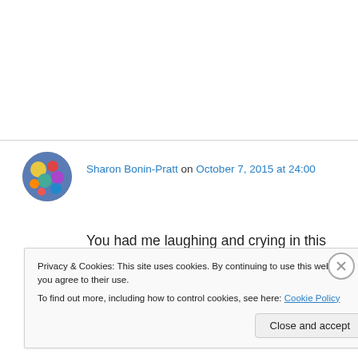[Figure (photo): Small circular avatar/profile photo with colorful abstract pattern]
Sharon Bonin-Pratt on October 7, 2015 at 24:00
You had me laughing and crying in this one post, Margie. A thousand or so words and you summed up the important things about life and love and letting go and keeping your best friend close.
Privacy & Cookies: This site uses cookies. By continuing to use this website, you agree to their use.
To find out more, including how to control cookies, see here: Cookie Policy